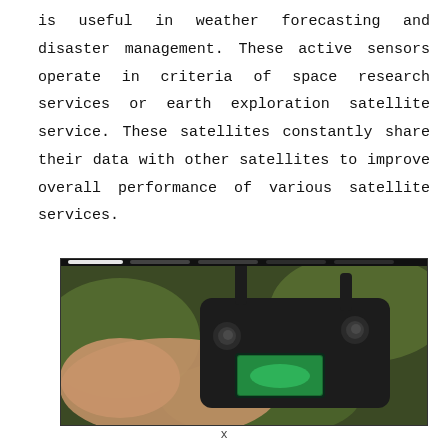is useful in weather forecasting and disaster management. These active sensors operate in criteria of space research services or earth exploration satellite service. These satellites constantly share their data with other satellites to improve overall performance of various satellite services.
[Figure (photo): A person holding a drone remote controller (DJI-style transmitter) with a screen showing a green-tinted display. Background is blurred green foliage.]
x